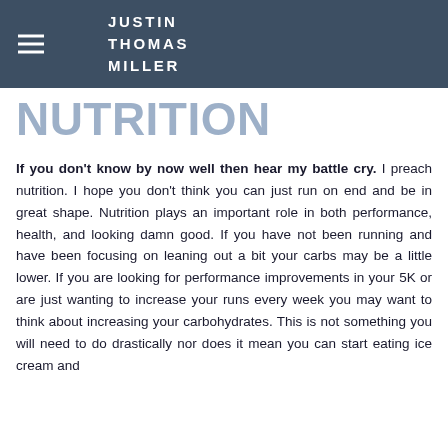JUSTIN THOMAS MILLER
NUTRITION
If you don't know by now well then hear my battle cry. I preach nutrition. I hope you don't think you can just run on end and be in great shape. Nutrition plays an important role in both performance, health, and looking damn good. If you have not been running and have been focusing on leaning out a bit your carbs may be a little lower. If you are looking for performance improvements in your 5K or are just wanting to increase your runs every week you may want to think about increasing your carbohydrates. This is not something you will need to do drastically nor does it mean you can start eating ice cream and